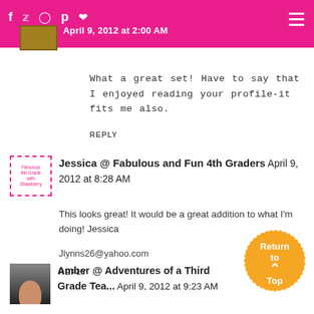Navigation header with social icons and hamburger menu
What a great set! Have to say that I enjoyed reading your profile-it fits me also.
REPLY
Jessica @ Fabulous and Fun 4th Graders April 9, 2012 at 8:28 AM
This looks great! It would be a great addition to what I'm doing! Jessica
Jlynns26@yahoo.com
REPLY
Amber @ Adventures of a Third Grade Tea... April 9, 2012 at 9:23 AM